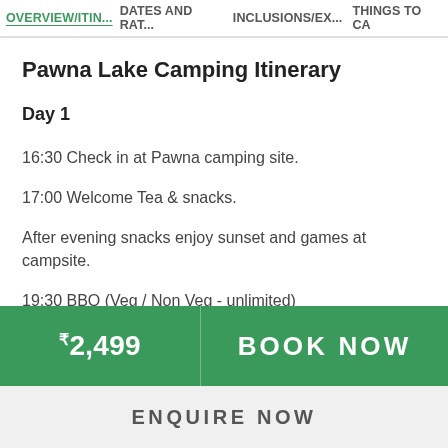OVERVIEW/ITIN... DATES AND RAT... INCLUSIONS/EX... THINGS TO CA
Pawna Lake Camping Itinerary
Day 1
16:30 Check in at Pawna camping site.
17:00 Welcome Tea & snacks.
After evening snacks enjoy sunset and games at campsite.
19:30 BBQ (Veg / Non Veg - unlimited)
₹2,499
BOOK NOW
ENQUIRE NOW